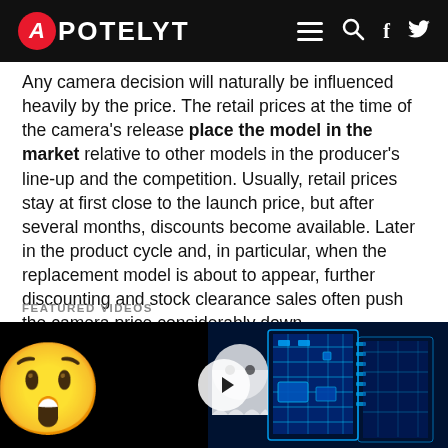APOTELYT
Any camera decision will naturally be influenced heavily by the price. The retail prices at the time of the camera’s release place the model in the market relative to other models in the producer’s line-up and the competition. Usually, retail prices stay at first close to the launch price, but after several months, discounts become available. Later in the product cycle and, in particular, when the replacement model is about to appear, further discounting and stock clearance sales often push the camera price considerably down.
FEATURED VIDEOS
[Figure (photo): Video thumbnail showing an emoji face on the left and a blue circuit board on the right, with a white play button in the center]